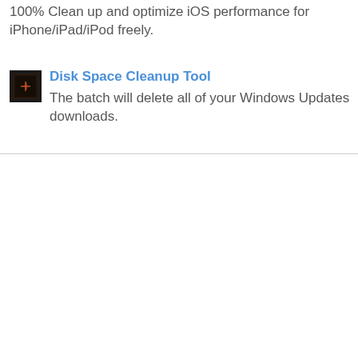100% Clean up and optimize iOS performance for iPhone/iPad/iPod freely.
[Figure (logo): Small dark square app icon with a red/orange element, for Disk Space Cleanup Tool]
Disk Space Cleanup Tool
The batch will delete all of your Windows Updates downloads.